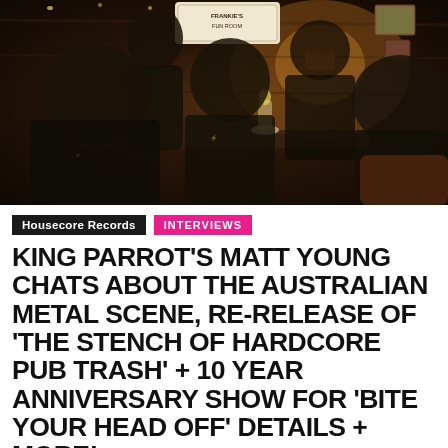[Figure (photo): Band photo of King Parrot members seated/standing inside a bar called Frankie's Fun Room, with dark wood paneling, warm lighting, and a glowing candle on the table. Five men in dark t-shirts posing.]
Housecore Records   INTERVIEWS
KING PARROT'S MATT YOUNG CHATS ABOUT THE AUSTRALIAN METAL SCENE, RE-RELEASE OF 'THE STENCH OF HARDCORE PUB TRASH' + 10 YEAR ANNIVERSARY SHOW FOR 'BITE YOUR HEAD OFF' DETAILS + MORE!
August 26, 2022   29 min read